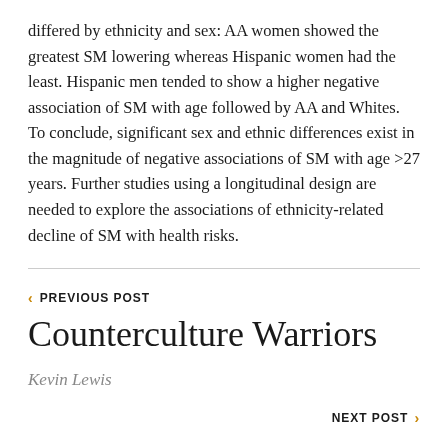differed by ethnicity and sex: AA women showed the greatest SM lowering whereas Hispanic women had the least. Hispanic men tended to show a higher negative association of SM with age followed by AA and Whites. To conclude, significant sex and ethnic differences exist in the magnitude of negative associations of SM with age >27 years. Further studies using a longitudinal design are needed to explore the associations of ethnicity-related decline of SM with health risks.
< PREVIOUS POST
Counterculture Warriors
Kevin Lewis
NEXT POST >